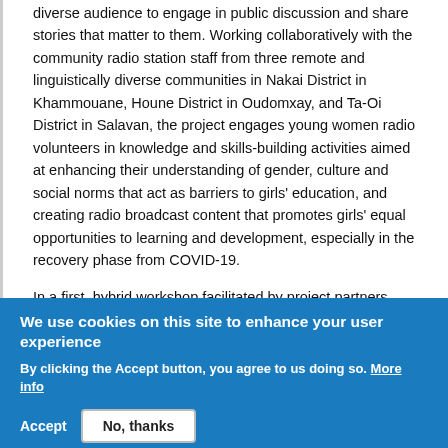diverse audience to engage in public discussion and share stories that matter to them. Working collaboratively with the community radio station staff from three remote and linguistically diverse communities in Nakai District in Khammouane, Houne District in Oudomxay, and Ta-Oi District in Salavan, the project engages young women radio volunteers in knowledge and skills-building activities aimed at enhancing their understanding of gender, culture and social norms that act as barriers to girls' education, and creating radio broadcast content that promotes girls' equal opportunities to learning and development, especially in the recovery phase from COVID-19.
In a first, hybrid workshop facilitated by project partners Plan International Laos from 6 through 10 December 2021, the young women community radio volunteers focused on
We use cookies on this site to enhance your user experience
By clicking the Accept button, you agree to us doing so. More info